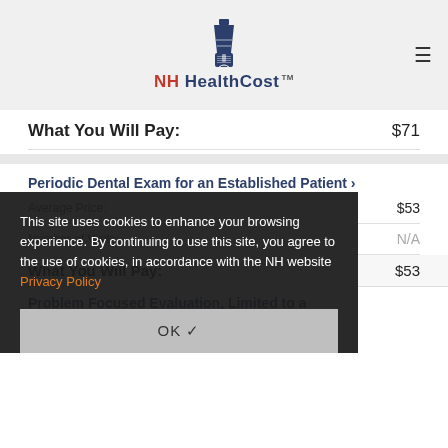[Figure (logo): NH HealthCost lighthouse logo with text]
What You Will Pay: $71
Periodic Dental Exam for an Established Patient
|  |  |
| --- | --- |
| Average Price: | $53 |
| Number of Visits: | N/A |
| What You Will Pay: | $53 |
Problem Focused Evaluation, Limited to a
This site uses cookies to enhance your browsing experience. By continuing to use this site, you agree to the use of cookies, in accordance with the NH website Privacy Policy